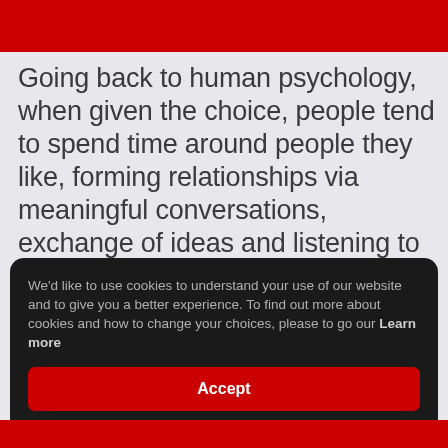Going back to human psychology, when given the choice, people tend to spend time around people they like, forming relationships via meaningful conversations, exchange of ideas and listening to each other.
Now, with the power of digital presence and social media, the same rules apply to businesses,
We'd like to use cookies to understand your use of our website and to give you a better experience. To find out more about cookies and how to change your choices, please to go our Learn more
Accept
Decline